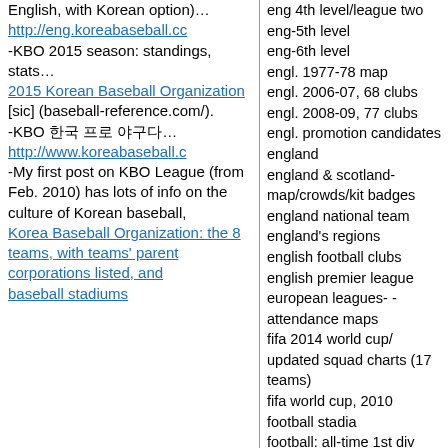English, with Korean option)… http://eng.koreabaseball.cc -KBO 2015 season: standings, stats… 2015 Korean Baseball Organization [sic] (baseball-reference.com/). -KBO 한국 프로 야구다… http://www.koreabaseball.c -My first post on KBO League (from Feb. 2010) has lots of info on the culture of Korean baseball, Korea Baseball Organization: the 8 teams, with teams' parent corporations listed, and baseball stadiums
eng 4th level/league two
eng-5th level
eng-6th level
engl. 1977-78 map
engl. 2006-07, 68 clubs
engl. 2008-09, 77 clubs
engl. promotion candidates
england
england & scotland-map/crowds/kit badges
england national team
england's regions
english football clubs
english premier league
european leagues- -attendance maps
fifa 2014 world cup/ updated squad charts (17 teams)
fifa world cup, 2010
football stadia
football: all-time 1st div
france
germany
ghana
greece
hand drawn maps
hockey
hockey, nhl re-alignment
hockey-nhl and expansion
hockey-nhl, pre-realignm't
hockey-wha
honduras
hungary